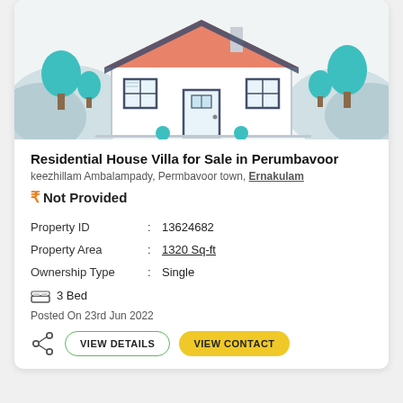[Figure (illustration): Illustrated house/villa with red roof, windows, door, and teal trees on a light grey background]
Residential House Villa for Sale in Perumbavoor
keezhillam Ambalampady, Permbavoor town, Ernakulam
₹ Not Provided
| Property ID | : | 13624682 |
| Property Area | : | 1320 Sq-ft |
| Ownership Type | : | Single |
3 Bed
Posted On 23rd Jun 2022
VIEW DETAILS   VIEW CONTACT